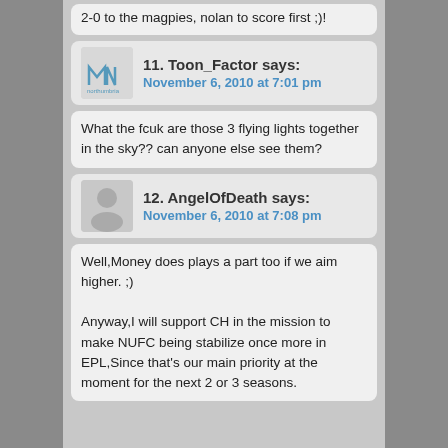2-0 to the magpies, nolan to score first ;)!
11. Toon_Factor says:
November 6, 2010 at 7:01 pm
What the fcuk are those 3 flying lights together in the sky?? can anyone else see them?
12. AngelOfDeath says:
November 6, 2010 at 7:08 pm
Well,Money does plays a part too if we aim higher. ;)

Anyway,I will support CH in the mission to make NUFC being stabilize once more in EPL,Since that's our main priority at the moment for the next 2 or 3 seasons.